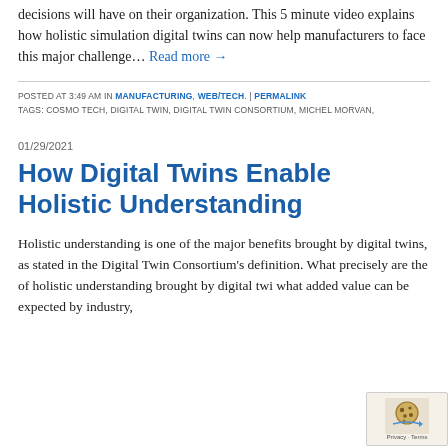decisions will have on their organization. This 5 minute video explains how holistic simulation digital twins can now help manufacturers to face this major challenge… Read more →
POSTED AT 3:49 AM IN MANUFACTURING, WEB/TECH. | PERMALINK
TAGS: COSMO TECH, DIGITAL TWIN, DIGITAL TWIN CONSORTIUM, MICHEL MORVAN,
01/29/2021
How Digital Twins Enable Holistic Understanding
Holistic understanding is one of the major benefits brought by digital twins, as stated in the Digital Twin Consortium's definition. What precisely are the of holistic understanding brought by digital twi what added value can be expected by industry,